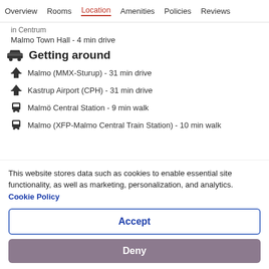Overview  Rooms  Location  Amenities  Policies  Reviews
in Centrum
Malmo Town Hall - 4 min drive
Getting around
Malmo (MMX-Sturup) - 31 min drive
Kastrup Airport (CPH) - 31 min drive
Malmö Central Station - 9 min walk
Malmo (XFP-Malmo Central Train Station) - 10 min walk
This website stores data such as cookies to enable essential site functionality, as well as marketing, personalization, and analytics. Cookie Policy
Accept
Deny